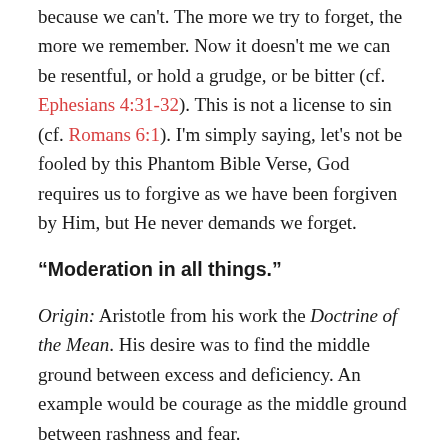because we can't. The more we try to forget, the more we remember. Now it doesn't me we can be resentful, or hold a grudge, or be bitter (cf. Ephesians 4:31-32). This is not a license to sin (cf. Romans 6:1). I'm simply saying, let's not be fooled by this Phantom Bible Verse, God requires us to forgive as we have been forgiven by Him, but He never demands we forget.
“Moderation in all things.”
Origin: Aristotle from his work the Doctrine of the Mean. His desire was to find the middle ground between excess and deficiency. An example would be courage as the middle ground between rashness and fear.
Meaning: However, it’s original meaning and application is lost in our modern world. Now “moderation in all things” is generally applied to indulging in bad or